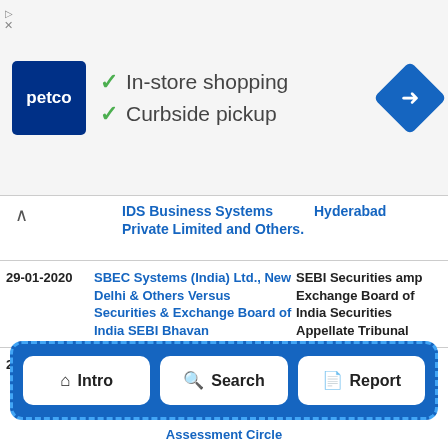[Figure (screenshot): Petco advertisement banner with logo, checkmarks for In-store shopping and Curbside pickup, and navigation icon]
| Date | Case Parties | Court |
| --- | --- | --- |
|  | IDS Business Systems Private Limited and Others. | Hyderabad |
| 29-01-2020 | SBEC Systems (India) Ltd., New Delhi & Others Versus Securities & Exchange Board of India SEBI Bhavan | SEBI Securities amp Exchange Board of India Securities Appellate Tribunal |
| 27-01-2020 | Proteck Circuit & Systems (P) Ltd., Represented by its Manager(Accounts &... | High Court of Judicature at Madras |
[Figure (screenshot): Navigation bar with three white buttons: Intro (home icon), Search (magnifier icon), Report (document icon), on a blue dashed-border background]
Assessment Circle